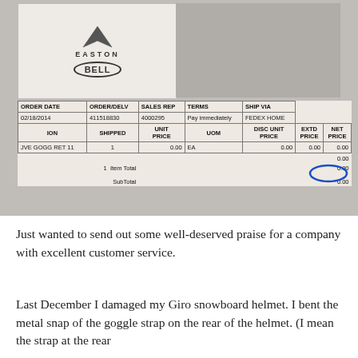[Figure (photo): Photo of an Easton Bell invoice/receipt showing an order for a goggle strap replacement part. The receipt shows ORDER DATE 02/18/2014, ORDER/DELV 411518830, SALES REP 4000295, TERMS Pay immediately, SHIP VIA FEDEX HOME. Line item: JVE GOGG RET 11, quantity 1, UNIT PRICE 0.00, UOM EA, DISC UNIT PRICE 0.00, EXTD PRICE 0.00, NET PRICE 0.00. Item Total 0.00, SubTotal 0.00. The 0.00 subtotal is circled in blue pen. The Easton Bell logo appears in the upper left corner of the receipt.]
Just wanted to send out some well-deserved praise for a company with excellent customer service.
Last December I damaged my Giro snowboard helmet.  I bent the metal snap of the goggle strap on the rear of the helmet.  (I mean the strap at the rear